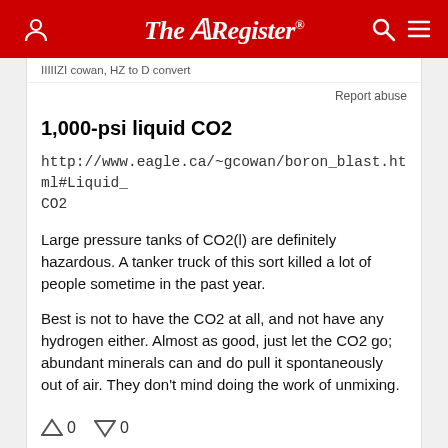The Register
IIIIIZI cowan, HZ to D convert
Report abuse
1,000-psi liquid CO2
http://www.eagle.ca/~gcowan/boron_blast.html#Liquid_CO2
Large pressure tanks of CO2(l) are definitely hazardous. A tanker truck of this sort killed a lot of people sometime in the past year.
Best is not to have the CO2 at all, and not have any hydrogen either. Almost as good, just let the CO2 go; abundant minerals can and do pull it spontaneously out of air. They don't mind doing the work of unmixing.
↑ 0   ↓ 0